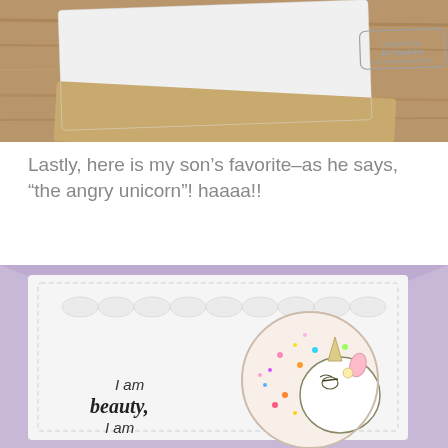[Figure (photo): Overhead photo of a white greeting card with a designer stamp reading 'designed by Jil Hawkins' on a wooden table background with a kraft paper envelope]
Lastly, here is my son's favorite–as he says, "the angry unicorn"! haaaa!!
[Figure (photo): Close-up photo of a white handmade shaker card with a circular window filled with colorful glitter and sequins, featuring a cartoon unicorn character with a grumpy expression, with text 'I am beauty, I am' visible, placed on a lavender/purple envelope]